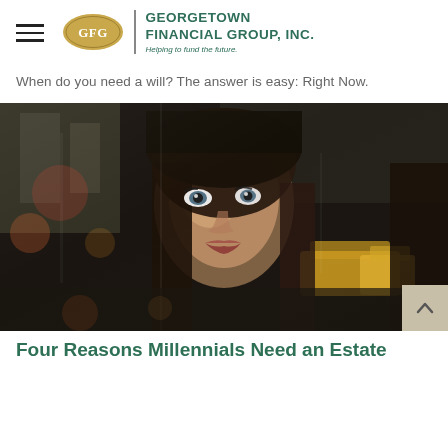Georgetown Financial Group, Inc. — Helping to fund the future.
When do you need a will? The answer is easy: Right Now.
[Figure (photo): Young woman looking upward through a glass window in an urban setting, with blurred yellow taxis and city buildings visible in the background.]
Four Reasons Millennials Need an Estate